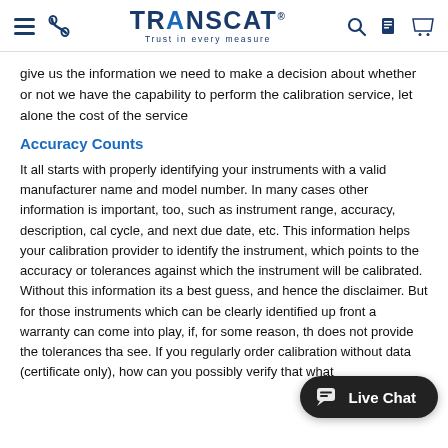TRANSCAT – Trust in every measure (navigation header with hamburger, phone, search, document, cart icons)
give us the information we need to make a decision about whether or not we have the capability to perform the calibration service, let alone the cost of the service
Accuracy Counts
It all starts with properly identifying your instruments with a valid manufacturer name and model number. In many cases other information is important, too, such as instrument range, accuracy, description, cal cycle, and next due date, etc. This information helps your calibration provider to identify the instrument, which points to the accuracy or tolerances against which the instrument will be calibrated. Without this information its a best guess, and hence the disclaimer. But for those instruments which can be clearly identified up front a warranty can come into play, if, for some reason, th does not provide the tolerances tha see. If you regularly order calibration without data (certificate only), how can you possibly verify that what